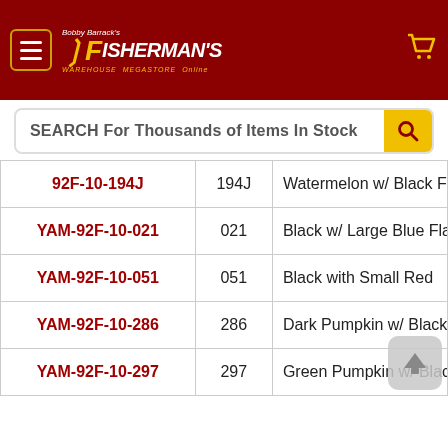Bobby Barrack's Fisherman's Warehouse Megastore Online
SEARCH For Thousands of Items In Stock
| SKU | Code | Description |
| --- | --- | --- |
| 92F-10-194J | 194J | Watermelon w/ Black Flake |
| YAM-92F-10-021 | 021 | Black w/ Large Blue Flake |
| YAM-92F-10-051 | 051 | Black with Small Red |
| YAM-92F-10-286 | 286 | Dark Pumpkin w/ Black Flak |
| YAM-92F-10-297 | 297 | Green Pumpkin w/ Black Fla |